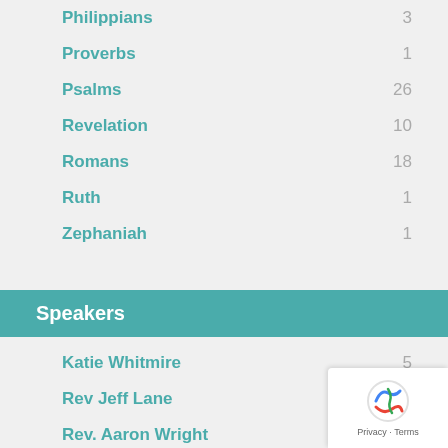Philippians   3
Proverbs   1
Psalms   26
Revelation   10
Romans   18
Ruth   1
Zephaniah   1
Speakers
Katie Whitmire   5
Rev Jeff Lane
Rev. Aaron Wright